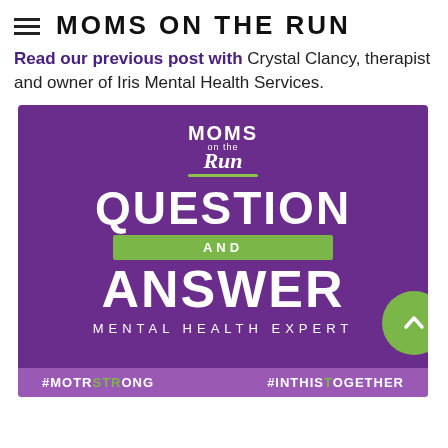MOMS ON THE RUN
Read our previous post with Crystal Clancy, therapist and owner of Iris Mental Health Services.
[Figure (infographic): Purple promotional graphic for Moms on the Run showing 'QUESTION AND ANSWER MENTAL HEALTH EXPERT' with green hashtag bar at bottom reading #MOTRSTRONG and #INTHISTOGETHER, and a green circular arrow button at bottom right.]